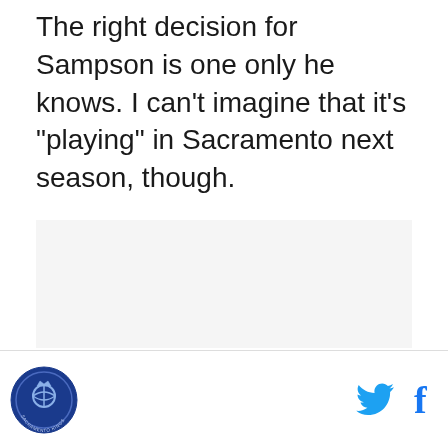The right decision for Sampson is one only he knows. I can't imagine that it's "playing" in Sacramento next season, though.
[Figure (other): Empty light gray placeholder image area]
Logo icon and social media share buttons (Twitter and Facebook)